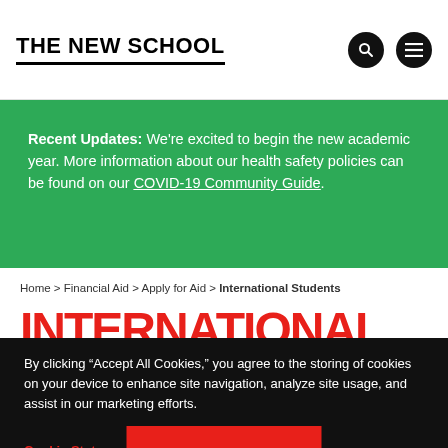THE NEW SCHOOL
Recent Updates: We're excited to begin the new academic year. More information about our health safety policies can be found on our COVID-19 Community Guide.
Home > Financial Aid > Apply for Aid > International Students
INTERNATIONAL
By clicking “Accept All Cookies,” you agree to the storing of cookies on your device to enhance site navigation, analyze site usage, and assist in our marketing efforts.
Cookie Statement